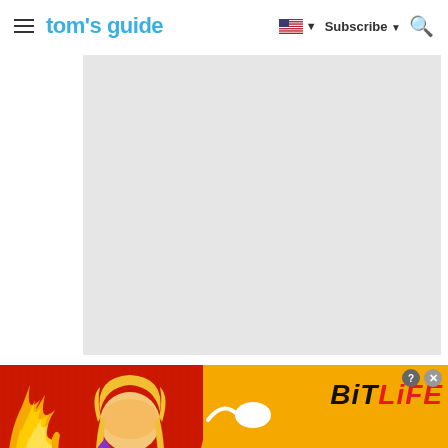tom's guide — Subscribe
[Figure (other): Large light gray advertisement placeholder box in the center of the page]
[Figure (other): BitLife banner advertisement with red background, FAIL badge, cartoon character facepalming, fire flames, sperm logo, BitLife logo and START A NEW LIFE tagline]